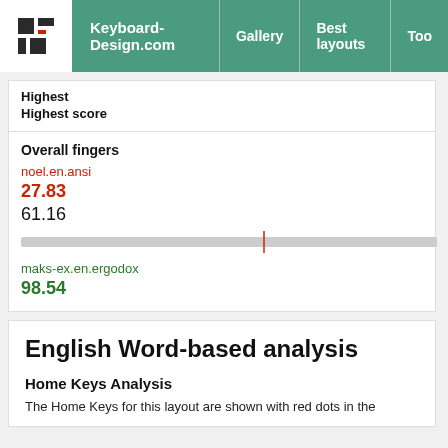Keyboard-Design.com  Gallery  Best layouts  Too
Highest
Highest score
Overall fingers
noel.en.ansi
27.83
61.16
[Figure (other): Horizontal bar chart showing score range with a red vertical marker line at approximately 61% position]
maks-ex.en.ergodox
98.54
English Word-based analysis
Home Keys Analysis
The Home Keys for this layout are shown with red dots in the